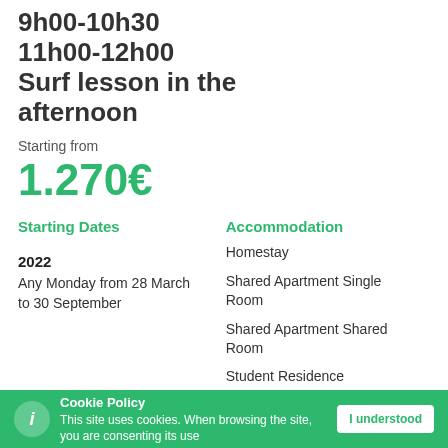9h00-10h30
11h00-12h00
Surf lesson in the afternoon
Starting from
1.270€
Starting Dates
2022
Any Monday from 28 March to 30 September
Accommodation
Homestay
Shared Apartment Single Room
Shared Apartment Shared Room
Student Residence
Hotel/hostel
Cookie Policy
This site uses cookies. When browsing the site, you are consenting its use
I understood